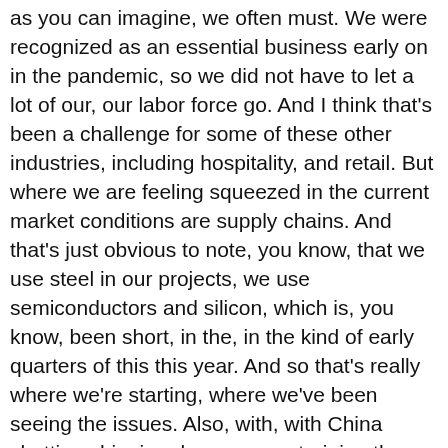as you can imagine, we often must. We were recognized as an essential business early on in the pandemic, so we did not have to let a lot of our, our labor force go. And I think that's been a challenge for some of these other industries, including hospitality, and retail. But where we are feeling squeezed in the current market conditions are supply chains. And that's just obvious to note, you know, that we use steel in our projects, we use semiconductors and silicon, which is, you know, been short, in the, in the kind of early quarters of this this year. And so that's really where we're starting, where we've been seeing the issues. Also, with, with China shutting shipping down or constraining the shipping earlier, this this quarter had a huge impact on delivery schedules for our solar panels. And then also, you know, in the supply chain, we ran into, and I'm not sure if you were going to bring this up, yet or not, but also just forced labor issues. And so the the industry itself has made huge commitments to understanding how and where forced labor was an issue with our projects, which was not a you know, less than 5% of the solar modules in the supply chain were affected by that. But we do value our duty to be there...